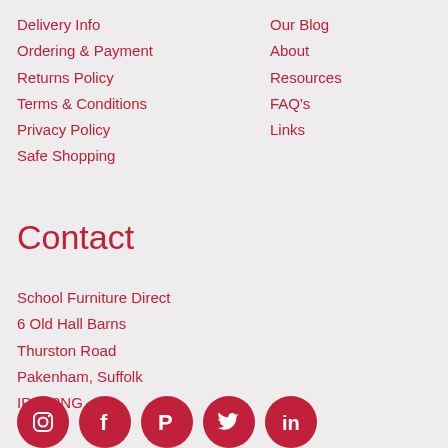Delivery Info
Ordering & Payment
Returns Policy
Terms & Conditions
Privacy Policy
Safe Shopping
Our Blog
About
Resources
FAQ's
Links
Contact
School Furniture Direct
6 Old Hall Barns
Thurston Road
Pakenham, Suffolk
IP31 2NG
[Figure (illustration): Row of five social media icons (Instagram, Facebook, Pinterest, Twitter, LinkedIn) as white icons on dark red circular backgrounds]